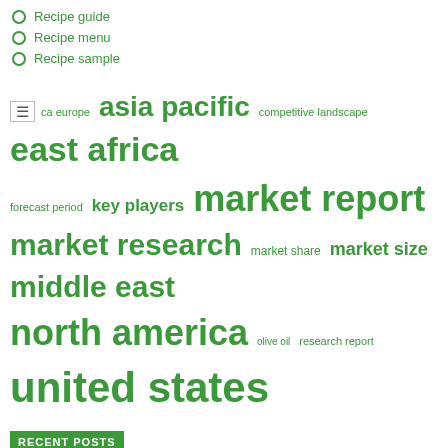Recipe guide
Recipe menu
Recipe sample
[Figure (other): Tag cloud with green keywords of varying font sizes: ca europe, asia pacific, competitive landscape, east africa, forecast period, key players, market report, market research, market share, market size, middle east, north america, olive oil, research report, united states]
RECENT POSTS
Is Payday Loans Available Anytime for Bad Credit?
A Summer Recipe for Eggplant and Okra Caponata
Lovina shares her key lime pie recipe